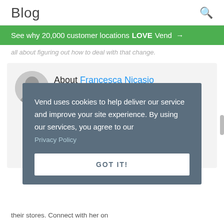Blog
See why 20,000 customer locations LOVE Vend →
all about figuring out how to deal with that change.
About Francesca Nicasio
Vend uses cookies to help deliver our service and improve your site experience. By using our services, you agree to our Privacy Policy
GOT IT!
their stores. Connect with her on